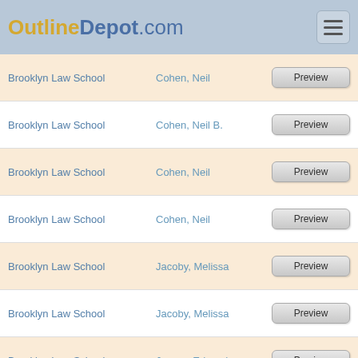OutlinDepot.com
Brooklyn Law School | Cohen, Neil | Preview
Brooklyn Law School | Cohen, Neil B. | Preview
Brooklyn Law School | Cohen, Neil | Preview
Brooklyn Law School | Cohen, Neil | Preview
Brooklyn Law School | Jacoby, Melissa | Preview
Brooklyn Law School | Jacoby, Melissa | Preview
Brooklyn Law School | Janger, Edward | Preview
Brooklyn Law School | Janger, Edward | Preview
Brooklyn Law School | Janger, Edward | Preview
Brooklyn Law School | Janger, Edward | Preview